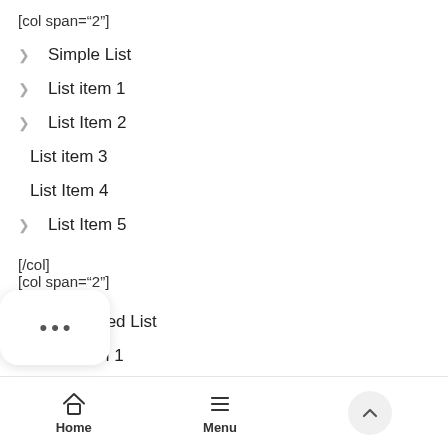[col span="2"]
> Simple List
> List item 1
> List Item 2
List item 3
List Item 4
> List Item 5
[/col]
[col span="2"]
1. Numbered List
2. List item 1
3. List Item 2
4. List item 3
Home   Menu